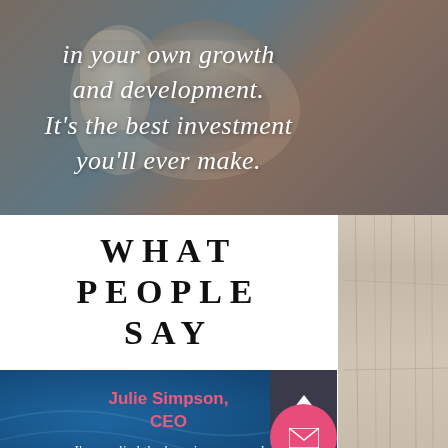[Figure (photo): Background photo of tea set (teapot, bowl, cup) on dark wooden surface with blue-grey overlay tint]
in your own growth and development. It's the best investment you'll ever make.
WHAT PEOPLE SAY
Julie Simpson, CEO
I've applied the learnings, opened about my demons and shared my private